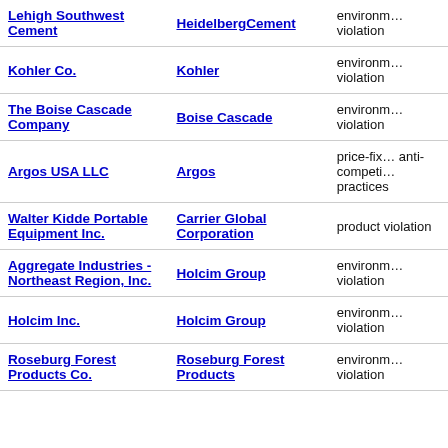| Company | Parent | Violation Type |
| --- | --- | --- |
| Lehigh Southwest Cement | HeidelbergCement | environmental violation |
| Kohler Co. | Kohler | environmental violation |
| The Boise Cascade Company | Boise Cascade | environmental violation |
| Argos USA LLC | Argos | price-fixing anti-competitive practices |
| Walter Kidde Portable Equipment Inc. | Carrier Global Corporation | product violation |
| Aggregate Industries - Northeast Region, Inc. | Holcim Group | environmental violation |
| Holcim Inc. | Holcim Group | environmental violation |
| Roseburg Forest Products Co. | Roseburg Forest Products | environmental violation |